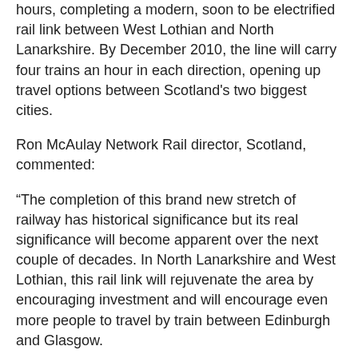hours, completing a modern, soon to be electrified rail link between West Lothian and North Lanarkshire. By December 2010, the line will carry four trains an hour in each direction, opening up travel options between Scotland's two biggest cities.
Ron McAulay Network Rail director, Scotland, commented:
“The completion of this brand new stretch of railway has historical significance but its real significance will become apparent over the next couple of decades. In North Lanarkshire and West Lothian, this rail link will rejuvenate the area by encouraging investment and will encourage even more people to travel by train between Edinburgh and Glasgow.
“The completion of track-laying is a major milestone for us and keeps us firmly on track to begin driver training by mid October and to open for passengers by December 2010. We still have a significant amount of work to do; installing signaling and overhead cables as well as completing the three new stations and the relocation of two other stations but we’re confident that we will deliver on schedule.”